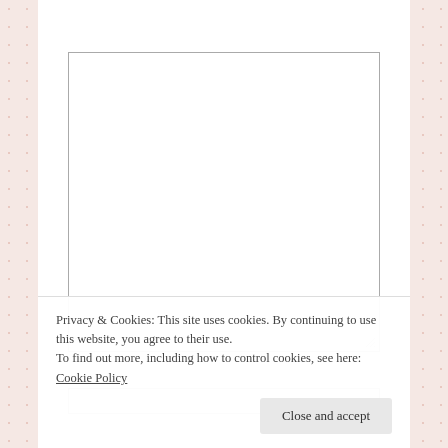[Figure (screenshot): A comment form textarea with label 'COMMENT *' (asterisk in red). The textarea is empty with a resize handle in the bottom-right corner. Below it is a partially visible second input field. A cookie consent banner overlays the bottom portion with privacy text and a 'Close and accept' button.]
Privacy & Cookies: This site uses cookies. By continuing to use this website, you agree to their use.
To find out more, including how to control cookies, see here: Cookie Policy